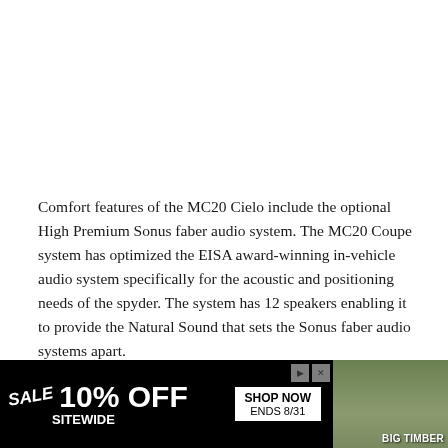Comfort features of the MC20 Cielo include the optional High Premium Sonus faber audio system. The MC20 Coupe system has optimized the EISA award-winning in-vehicle audio system specifically for the acoustic and positioning needs of the spyder. The system has 12 speakers enabling it to provide the Natural Sound that sets the Sonus faber audio systems apart.
Maserati Connect and the Maserati Intelligent Assistant (MIA) M... ... -car experi...
[Figure (other): Advertisement banner: black background with SALE tag, 10% OFF SITEWIDE text, SHOP NOW / ENDS 8/31 button, photo of a wooden gazebo/pavilion structure, BIG TIMBER branding]